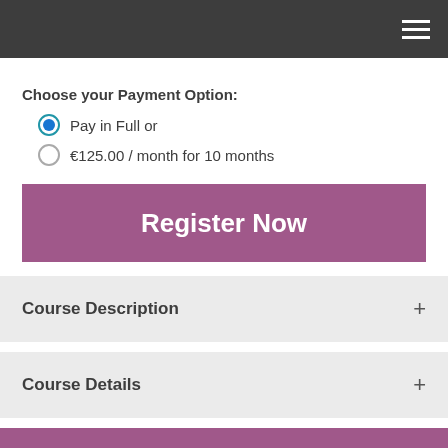Navigation bar with hamburger menu
Choose your Payment Option:
Pay in Full or
€125.00 / month for 10 months
Register Now
Course Description
Course Details